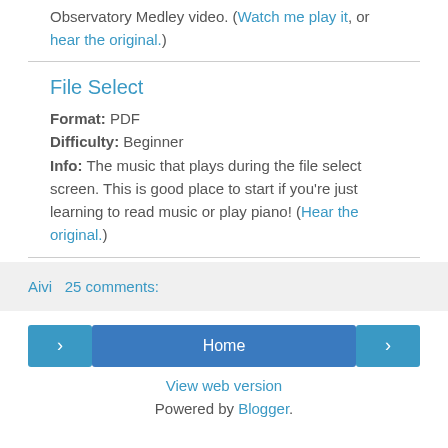Observatory Medley video. (Watch me play it, or hear the original.)
File Select
Format: PDF
Difficulty: Beginner
Info: The music that plays during the file select screen. This is good place to start if you're just learning to read music or play piano! (Hear the original.)
Aivi  25 comments:
Home
View web version
Powered by Blogger.